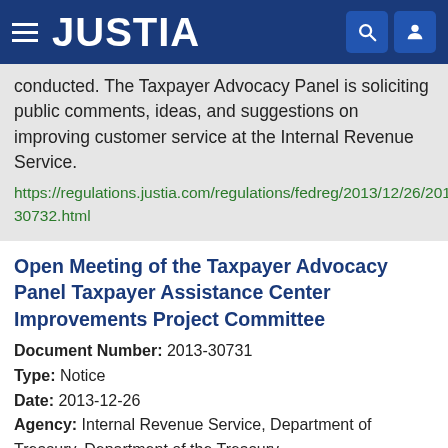JUSTIA
conducted. The Taxpayer Advocacy Panel is soliciting public comments, ideas, and suggestions on improving customer service at the Internal Revenue Service.
https://regulations.justia.com/regulations/fedreg/2013/12/26/2013-30732.html
Open Meeting of the Taxpayer Advocacy Panel Taxpayer Assistance Center Improvements Project Committee
Document Number: 2013-30731
Type: Notice
Date: 2013-12-26
Agency: Internal Revenue Service, Department of Treasury, Department of the Treasury
An open meeting of the Taxpayer Advocacy Panel Taxpayer Assistance Center Improvements Project Committee will be conducted. The Taxpayer Advocacy